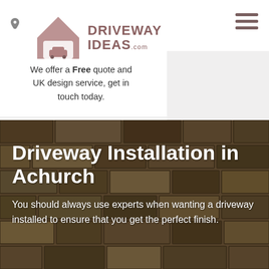[Figure (logo): Driveway Ideas logo with house/garage icon and text 'DRIVEWAY IDEAS .com']
We offer a Free quote and UK design service, get in touch today.
[Figure (infographic): Social media icons: Twitter, Pinterest, YouTube, Tumblr on a light grey background]
Driveway Installation in Achurch
You should always use experts when wanting a driveway installed to ensure that you get the perfect finish.